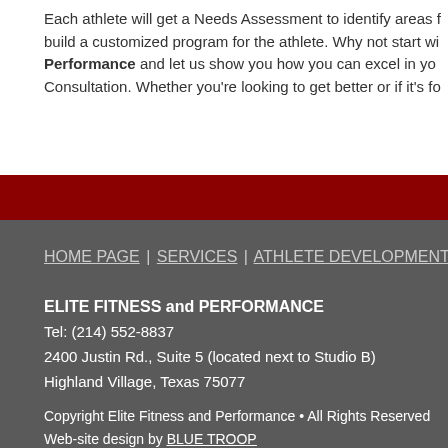Each athlete will get a Needs Assessment to identify areas f... build a customized program for the athlete. Why not start wi... Performance and let us show you how you can excel in yo... Consultation. Whether you're looking to get better or if it's fo...
HOME PAGE | SERVICES | ATHLETE DEVELOPMENT | STAFF | C...
ELITE FITNESS and PERFORMANCE
Tel: (214) 552-8837
2400 Justin Rd., Suite 5 (located next to Studio B)
Highland Village, Texas 75077
Copyright Elite Fitness and Performance • All Rights Reserved
Web-site design by BLUE TROOP